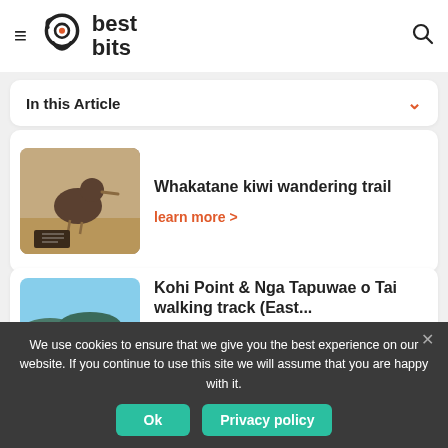best bits
In this Article
Whakatane kiwi wandering trail
learn more >
Kohi Point & Nga Tapuwae o Tai walking track (East...
[Figure (photo): Kiwi bird on sandy ground with a sign]
[Figure (photo): Coastal landscape with blue sea and distant hills]
We use cookies to ensure that we give you the best experience on our website. If you continue to use this site we will assume that you are happy with it.
Ok
Privacy policy